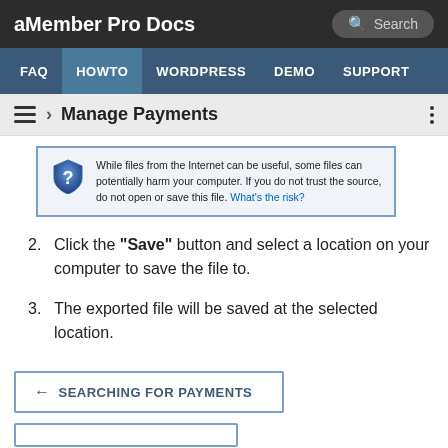aMember Pro Docs
[Figure (screenshot): Warning dialog: While files from the Internet can be useful, some files can potentially harm your computer. If you do not trust the source, do not open or save this file. What's the risk?]
Click the "Save" button and select a location on your computer to save the file to.
The exported file will be saved at the selected location.
← SEARCHING FOR PAYMENTS